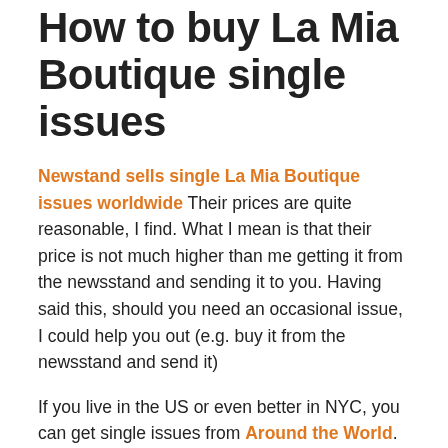How to buy La Mia Boutique single issues
Newstand sells single La Mia Boutique issues worldwide Their prices are quite reasonable, I find. What I mean is that their price is not much higher than me getting it from the newsstand and sending it to you. Having said this, should you need an occasional issue, I could help you out (e.g. buy it from the newsstand and send it)
If you live in the US or even better in NYC, you can get single issues from Around the World. They even sell older copies.
How to request old La Mia